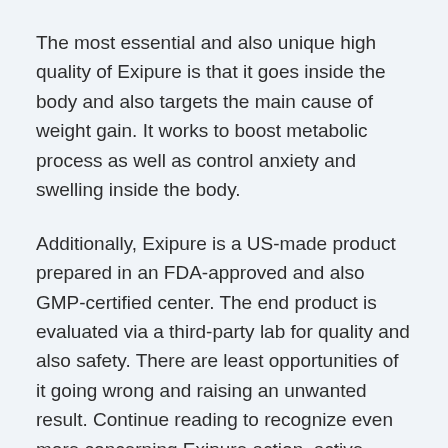The most essential and also unique high quality of Exipure is that it goes inside the body and also targets the main cause of weight gain. It works to boost metabolic process as well as control anxiety and swelling inside the body.
Additionally, Exipure is a US-made product prepared in an FDA-approved and also GMP-certified center. The end product is evaluated via a third-party lab for quality and also safety. There are least opportunities of it going wrong and raising an unwanted result. Continue reading to recognize even more concerning Exipure action, active ingredients, as well as rates.
ALSO SEE: "We Locate an AMAZING